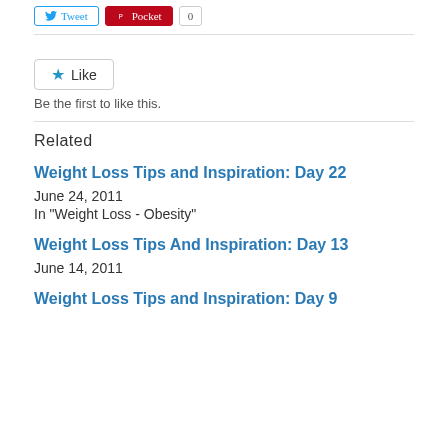[Figure (other): Social sharing buttons: Twitter button, Pinterest (Pocket) button, and a count button]
[Figure (other): WordPress Like button with star icon and 'Like' text]
Be the first to like this.
Related
Weight Loss Tips and Inspiration: Day 22
June 24, 2011
In "Weight Loss - Obesity"
Weight Loss Tips And Inspiration: Day 13
June 14, 2011
Weight Loss Tips and Inspiration: Day 9